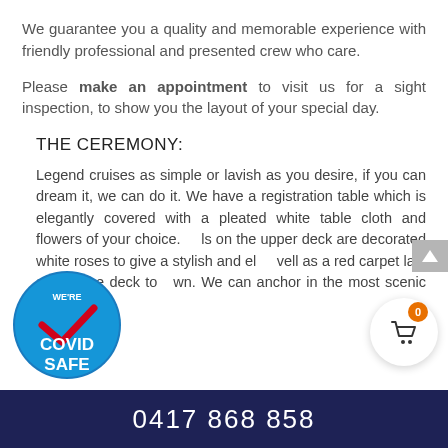We guarantee you a quality and memorable experience with friendly professional and presented crew who care.
Please make an appointment to visit us for a sight inspection, to show you the layout of your special day.
THE CEREMONY:
Legend cruises as simple or lavish as you desire, if you can dream it, we can do it. We have a registration table which is elegantly covered with a pleated white table cloth and flowers of your choice. [...]s on the upper deck are decorated white roses to give a stylish and el[egant look] as well as a red carpet laid across the deck to [the] wn. We can anchor in the most scenic bays
[Figure (logo): COVID SAFE badge - circular blue badge with text WE'RE COVID SAFE and a red checkmark]
0417 868 858